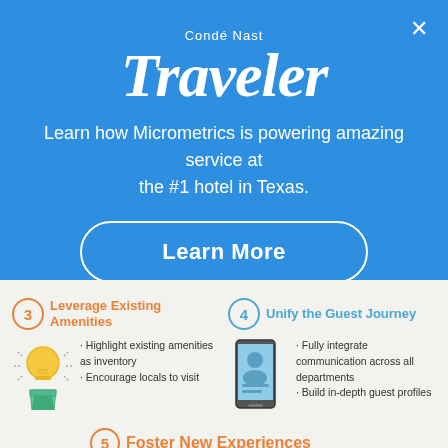[Figure (logo): Condé Nast Traveler logo in white on blue background]
Learn how Micrometrics is powering amazing service at the #1 hotel in Texas.
Learn More
[Figure (infographic): Infographic section showing items 3 Leverage Existing Amenities, 4 Unify the Guest Journey, and 5 Foster New Experiences with icons and bullet points]
Highlight existing amenities as inventory
Encourage locals to visit
Fully integrate communication across all departments
Build in-depth guest profiles
Promote local culture